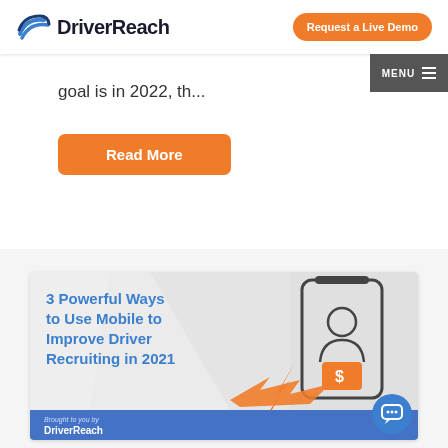[Figure (logo): DriverReach logo with blue swirl icon and bold black text]
Request a Live Demo
MENU
goal is in 2022, th...
Read More
[Figure (illustration): Advertisement card: '3 Powerful Ways to Use Mobile to Improve Driver Recruiting in 2021' with phone icon showing a person with dollar sign, orange arrow/lightning bolt, and DriverReach branding footer]